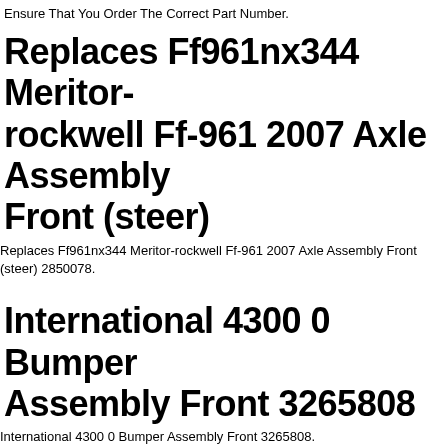Ensure That You Order The Correct Part Number.
Replaces Ff961nx344 Meritor-rockwell Ff-961 2007 Axle Assembly Front (steer)
Replaces Ff961nx344 Meritor-rockwell Ff-961 2007 Axle Assembly Front (steer) 2850078.
International 4300 0 Bumper Assembly Front 3265808
International 4300 0 Bumper Assembly Front 3265808.
Replaces Sterling A9500 2008 Cooling Assembly (rad Cond Ataac) 481192. 'sterling A9500 Cooling Assembly Rad, Con, Ataac Radiator Overflow Tank'. If It Is A Used Part, We May Have Alternatives And The